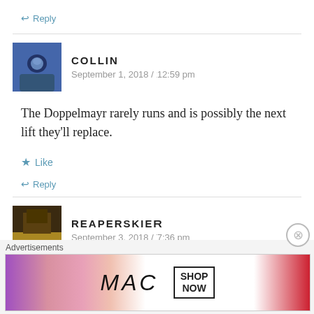↩ Reply
COLLIN
September 1, 2018 / 12:59 pm
The Doppelmayr rarely runs and is possibly the next lift they'll replace.
★ Like
↩ Reply
REAPERSKIER
September 3, 2018 / 7:36 pm
[Figure (screenshot): MAC cosmetics advertisement banner showing lipsticks and SHOP NOW button]